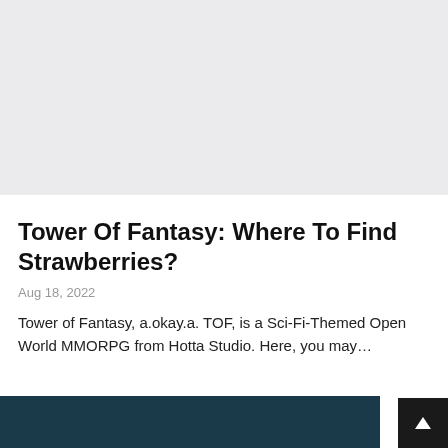[Figure (photo): Light gray placeholder image area at top of page]
Tower Of Fantasy: Where To Find Strawberries?
Aug 18, 2022
Tower of Fantasy, a.okay.a. TOF, is a Sci-Fi-Themed Open World MMORPG from Hotta Studio. Here, you may…
[Figure (photo): Partial dark-toned game screenshot visible at bottom of page]